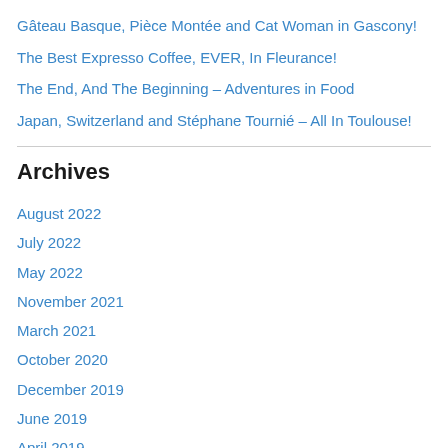Gâteau Basque, Pièce Montée and Cat Woman in Gascony!
The Best Expresso Coffee, EVER, In Fleurance!
The End, And The Beginning – Adventures in Food
Japan, Switzerland and Stéphane Tournié – All In Toulouse!
Archives
August 2022
July 2022
May 2022
November 2021
March 2021
October 2020
December 2019
June 2019
April 2019
January 2019
November 2018
May 2018